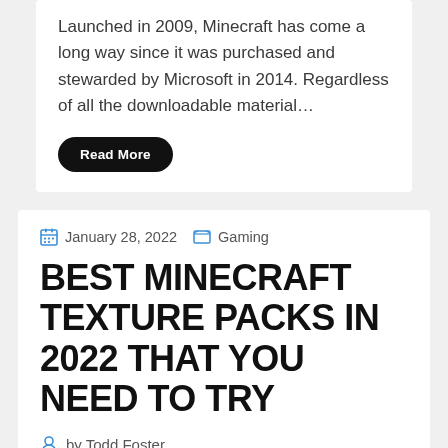Launched in 2009, Minecraft has come a long way since it was purchased and stewarded by Microsoft in 2014. Regardless of all the downloadable material…
Read More
January 28, 2022   Gaming
BEST MINECRAFT TEXTURE PACKS IN 2022 THAT YOU NEED TO TRY
by Todd Foster
Best Minecraft Textures packOn the planet of battle-royal and also busy online FPS, Minecraft